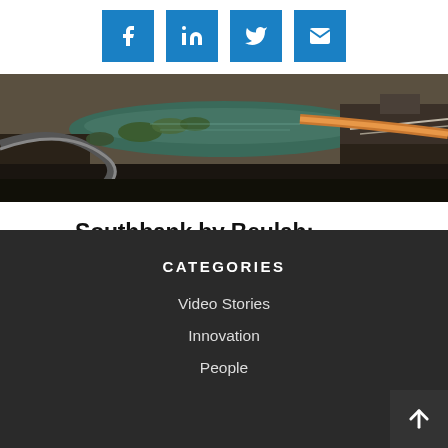[Figure (other): Social media share icons: Facebook, LinkedIn, Twitter, Email — blue square buttons]
[Figure (photo): Aerial/drone photograph of Southbank area showing a curved river with construction/industrial infrastructure, green trees, and urban buildings from above]
Southbank by Beulah: Building the World's First 'Greenscraper'
ROB DUNN
CATEGORIES
Video Stories
Innovation
People